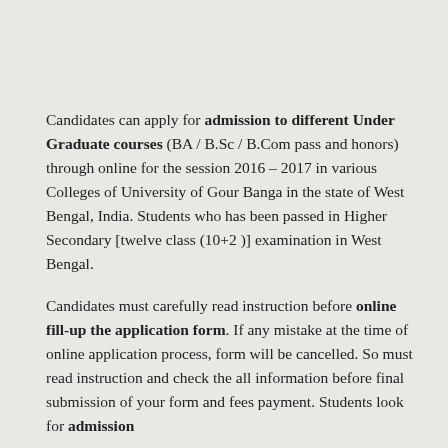Candidates can apply for admission to different Under Graduate courses (BA / B.Sc / B.Com pass and honors) through online for the session 2016 – 2017 in various Colleges of University of Gour Banga in the state of West Bengal, India. Students who has been passed in Higher Secondary [twelve class (10+2 )] examination in West Bengal.
Candidates must carefully read instruction before online fill-up the application form. If any mistake at the time of online application process, form will be cancelled. So must read instruction and check the all information before final submission of your form and fees payment. Students look for admission